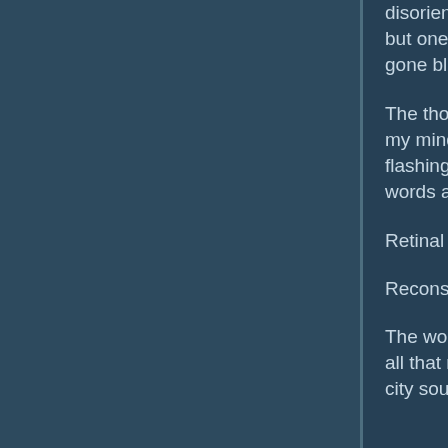disorientating me even further, but one thing became clear. I had gone blind.
The thought had hardly crossed my mind when suddenly the flashing dot returned and became words again.
Retinal damage detected.
Reconstructing visual units.
The words faded away again and all that remained was the distant city sounds and the darkness.